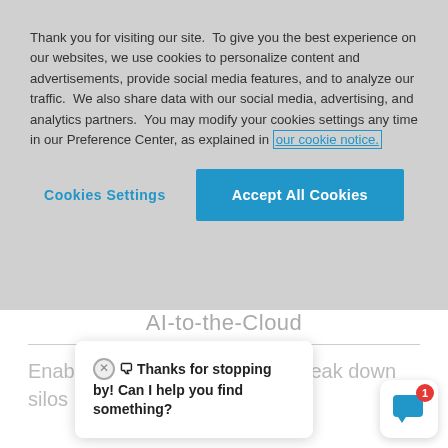Thank you for visiting our site.  To give you the best experience on our websites, we use cookies to personalize content and advertisements, provide social media features, and to analyze our traffic.  We also share data with our social media, advertising, and analytics partners.  You may modify your cookies settings any time in our Preference Center, as explained in our cookie notice.
Cookies Settings | Accept All Cookies
AI-to-the-Cloud
Enab… planning… data, and break down silos…
🗨 Thanks for stopping by! Can I help you find something?